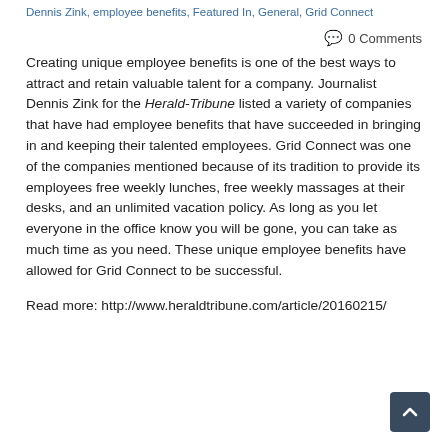Dennis Zink, employee benefits, Featured In, General, Grid Connect
💬 0 Comments
Creating unique employee benefits is one of the best ways to attract and retain valuable talent for a company. Journalist Dennis Zink for the Herald-Tribune listed a variety of companies that have had employee benefits that have succeeded in bringing in and keeping their talented employees. Grid Connect was one of the companies mentioned because of its tradition to provide its employees free weekly lunches, free weekly massages at their desks, and an unlimited vacation policy. As long as you let everyone in the office know you will be gone, you can take as much time as you need. These unique employee benefits have allowed for Grid Connect to be successful.
Read more: http://www.heraldtribune.com/article/20160215/...UN